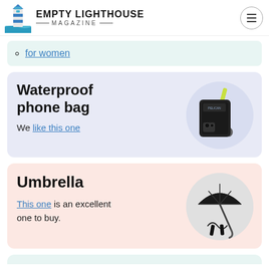EMPTY LIGHTHOUSE MAGAZINE
for women
Waterproof phone bag
We like this one
[Figure (photo): Waterproof phone bag with yellow/green lanyard strap on circular light background]
Umbrella
This one is an excellent one to buy.
[Figure (photo): Black folding umbrella on circular light background]